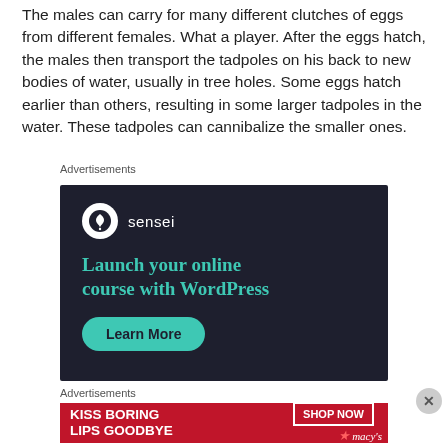The males can carry for many different clutches of eggs from different females. What a player. After the eggs hatch, the males then transport the tadpoles on his back to new bodies of water, usually in tree holes. Some eggs hatch earlier than others, resulting in some larger tadpoles in the water. These tadpoles can cannibalize the smaller ones.
Advertisements
[Figure (screenshot): Sensei advertisement: dark navy background with Sensei logo (white tree icon in circle), teal headline 'Launch your online course with WordPress', and a teal rounded 'Learn More' button.]
Advertisements
[Figure (screenshot): Macy's advertisement: red background with white bold text 'KISS BORING LIPS GOODBYE', photo of woman's lips, 'SHOP NOW' button and Macy's star logo on the right.]